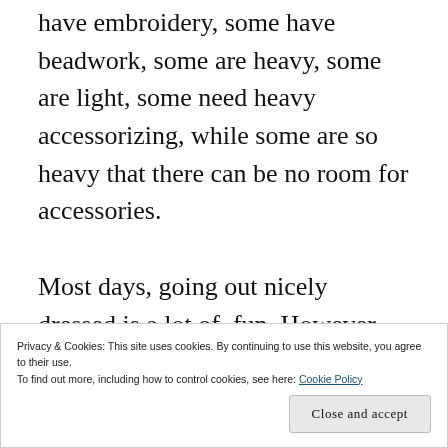have embroidery, some have beadwork, some are heavy, some are light, some need heavy accessorizing, while some are so heavy that there can be no room for accessories.
Most days, going out nicely dressed is a lot of fun. However, sometimes the sequins chaf against my neck, sometimes the
Privacy & Cookies: This site uses cookies. By continuing to use this website, you agree to their use.
To find out more, including how to control cookies, see here: Cookie Policy
Close and accept